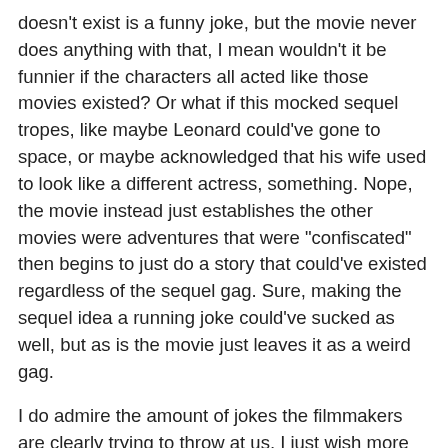doesn't exist is a funny joke, but the movie never does anything with that, I mean wouldn't it be funnier if the characters all acted like those movies existed? Or what if this mocked sequel tropes, like maybe Leonard could've gone to space, or maybe acknowledged that his wife used to look like a different actress, something. Nope, the movie instead just establishes the other movies were adventures that were "confiscated" then begins to just do a story that could've existed regardless of the sequel gag. Sure, making the sequel idea a running joke could've sucked as well, but as is the movie just leaves it as a weird gag.
I do admire the amount of jokes the filmmakers are clearly trying to throw at us, I just wish more could've landed. There's an odd gag early on wherein a fish attacks a man, while growling like a dog, I suppose it's meant to be funny because the fish killing a man is over the top, but the fish growling was too much, it made the whole thing fall flat. Once I saw that joke, I just knew what would be the movie's biggest flaw, every time a decent joke tries to escape, the movie has to ruin that. Another scene features a spy, being murdered by frogs, the frogs in unison, jump under his car,